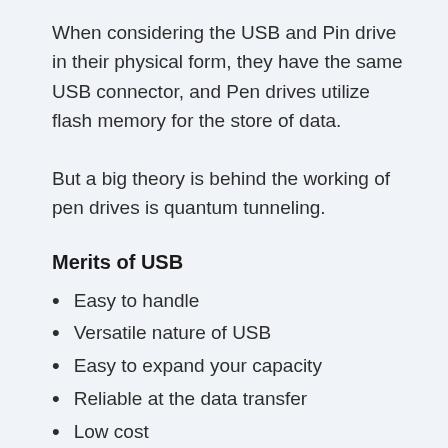When considering the USB and Pin drive in their physical form, they have the same USB connector, and Pen drives utilize flash memory for the store of data.
But a big theory is behind the working of pen drives is quantum tunneling.
Merits of USB
Easy to handle
Versatile nature of USB
Easy to expand your capacity
Reliable at the data transfer
Low cost
Low power consumption